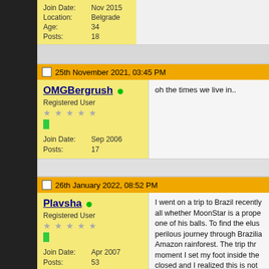Join Date: Nov 2015
Location: Belgrade
Age: 34
Posts: 18
25th November 2021, 03:45 PM
OMGBergrush
Registered User
Join Date: Sep 2006
Posts: 17
oh the times we live in..
26th January 2022, 08:52 PM
Plavsha
Registered User
Join Date: Apr 2007
Posts: 53
I went on a trip to Brazil recently all whether MoonStar is a prope one of his balls. To find the elus perilous journey through Brazilia Amazon rainforest. The trip thr moment I set my foot inside the closed and I realized this is not was majestic. A brand new worl